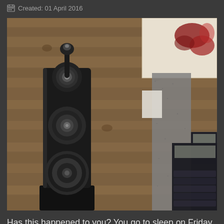Created: 01 April 2016
[Figure (photo): Composite photo showing a large black floor-standing audiophile speaker (B&W 800 series) against a wooden plank wall on the left, and a modern home theater room with reclining chairs on the bottom right, with a partial view of a white canvas painting at top right.]
Has this happened to you? You go to sleep on Friday night with a potential audio purchase on your mind -- as you drift off, you find yourself comparing two products. Then, the first thing you think of on waking Saturday morning are those two shiny